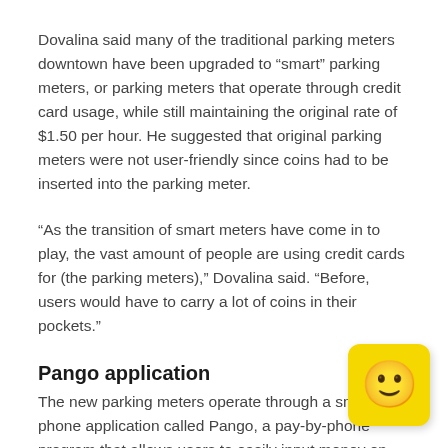Dovalina said many of the traditional parking meters downtown have been upgraded to “smart” parking meters, or parking meters that operate through credit card usage, while still maintaining the original rate of $1.50 per hour. He suggested that original parking meters were not user-friendly since coins had to be inserted into the parking meter.
“As the transition of smart meters have come in to play, the vast amount of people are using credit cards for (the parking meters),” Dovalina said. “Before, users would have to carry a lot of coins in their pockets.”
Pango application
The new parking meters operate through a smartphone application called Pango, a pay-by-phone program that allows users to easily input money on
[Figure (illustration): Yellow sticky note with a smiley face emoji]